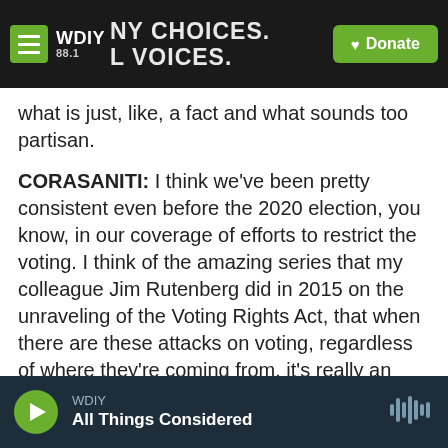WDIY 88.1 — ANY CHOICES. ALL VOICES. | Donate
what is just, like, a fact and what sounds too partisan.
CORASANITI: I think we've been pretty consistent even before the 2020 election, you know, in our coverage of efforts to restrict the voting. I think of the amazing series that my colleague Jim Rutenberg did in 2015 on the unraveling of the Voting Rights Act, that when there are these attacks on voting, regardless of where they're coming from, it's really an attack on American democracy and small D democratic norms. And so, no, I didn't get any pushback from my editors. And I
WDIY | All Things Considered